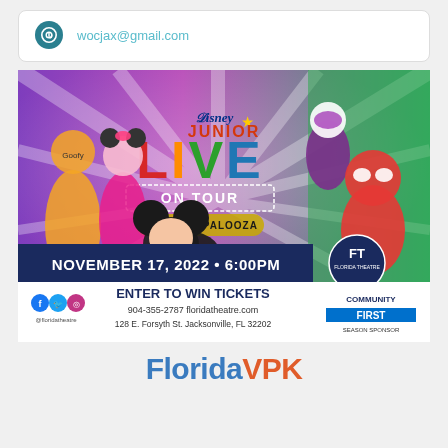wocjax@gmail.com
[Figure (illustration): Disney Junior Live On Tour Costume Palooza promotional advertisement. Features Mickey Mouse, Minnie Mouse, Goofy, Ghost-Spider, and Spider-Man (Miles Morales) characters on a colorful purple/green background. Text reads: Disney Junior LIVE ON TOUR COSTUME PALOOZA. NOVEMBER 17, 2022 · 6:00PM. ENTER TO WIN TICKETS 904-355-2787 floridatheatre.com 128 E. Forsyth St. Jacksonville, FL 32202. Florida Theatre logo and Community First Season Sponsor badge visible.]
[Figure (logo): Florida VPK logo with 'Florida' in blue and 'VPK' in orange/red bold text]